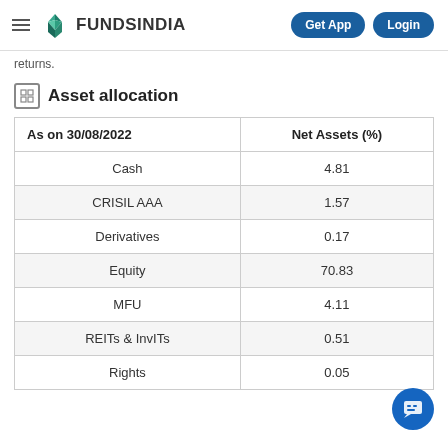FundsIndia — Get App | Login
returns.
Asset allocation
| As on 30/08/2022 | Net Assets (%) |
| --- | --- |
| Cash | 4.81 |
| CRISIL AAA | 1.57 |
| Derivatives | 0.17 |
| Equity | 70.83 |
| MFU | 4.11 |
| REITs & InvITs | 0.51 |
| Rights | 0.05 |